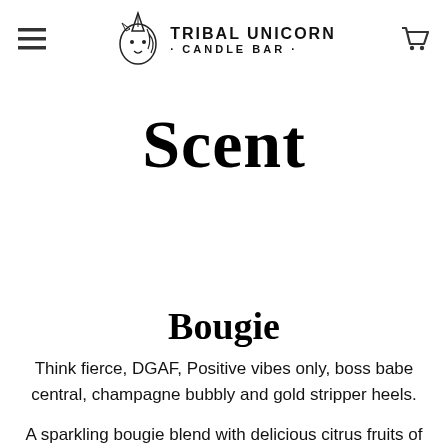TRIBAL UNICORN · CANDLE BAR ·
Scent
Bougie
Think fierce, DGAF, Positive vibes only, boss babe central, champagne bubbly and gold stripper heels.
A sparkling bougie blend with delicious citrus fruits of sweet grapefruit, Brazilian orange and pink pomelo